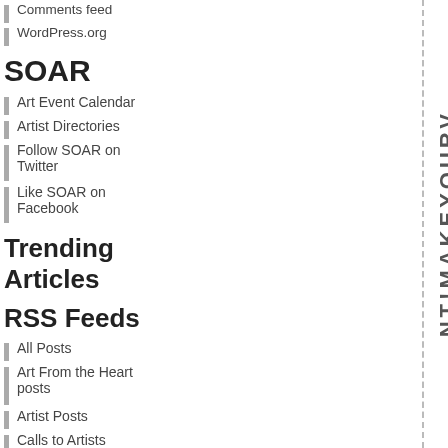Comments feed
WordPress.org
SOAR
Art Event Calendar
Artist Directories
Follow SOAR on Twitter
Like SOAR on Facebook
Trending Articles
RSS Feeds
All Posts
Art From the Heart posts
Artist Posts
Calls to Artists
Gallery Exhibits and News
[Figure (infographic): Vertical text reading NT!MAKEYOURVG going top to bottom between two dashed vertical lines]
Follow Us
[Figure (infographic): Social media icons: Facebook (dark blue), Twitter (light blue), Pinterest (red), RSS (orange), LinkedIn (blue)]